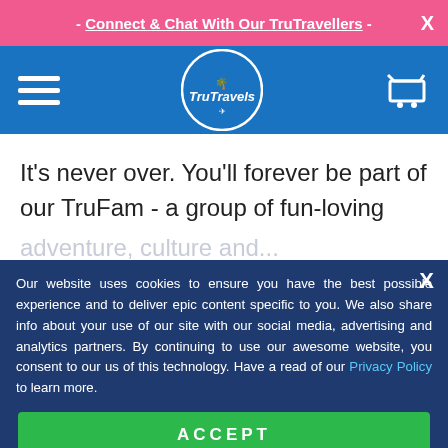- Connect & Chat With Our TruTravellers -
[Figure (logo): TruTravels circular logo with palm trees on blue navigation bar with hamburger menu and cart icon]
It’s never over. You’ll forever be part of our TruFam - a group of fun-loving legends from around the world who share our love of
Our website uses cookies to ensure you have the best possible experience and to deliver epic content specific to you. We also share info about your use of our site with our social media, advertising and analytics partners. By continuing to use our awesome website, you consent to our us of this technology. Have a read of our Privacy Policy to learn more.
ACCEPT